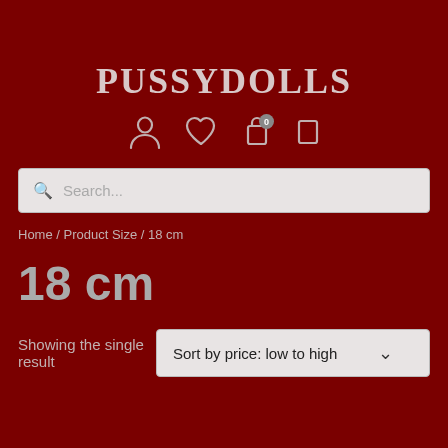PUSSYDOLLS
[Figure (screenshot): Navigation icons row: user/account icon, heart/wishlist icon, shopping bag icon with badge showing 0, and a mobile menu icon]
[Figure (screenshot): Search bar input field with placeholder text 'Search...']
Home / Product Size / 18 cm
18 cm
Showing the single result
[Figure (screenshot): Sort dropdown selector showing 'Sort by price: low to high']